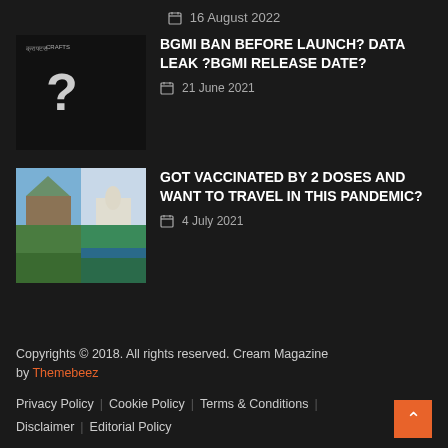16 August 2022
[Figure (photo): Dark thumbnail with question mark graphic and text overlay for BGMI article]
BGMI BAN BEFORE LAUNCH? DATA LEAK ?BGMI RELEASE DATE?
21 June 2021
[Figure (photo): 4-cell grid thumbnail showing mountain building, Taj Mahal, green landscape, and river for travel article]
GOT VACCINATED BY 2 DOSES AND WANT TO TRAVEL IN THIS PANDEMIC?
4 July 2021
Copyrights © 2018. All rights reserved. Cream Magazine by Themebeez | Privacy Policy | Cookie Policy | Terms & Conditions | Disclaimer | Editorial Policy